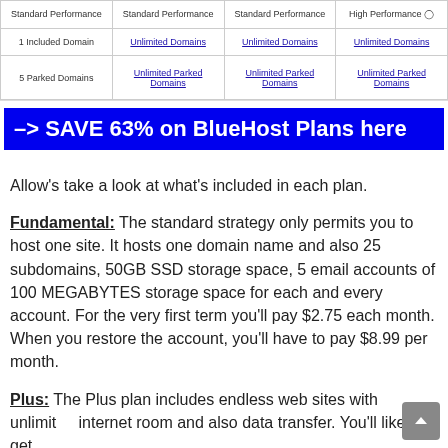[Figure (screenshot): Top portion of a comparison table showing four hosting plan columns with rows: Standard Performance / High Performance, 1 Included Domain / Unlimited Domains, 5 Parked Domains / Unlimited Parked Domains]
–> SAVE 63% on BlueHost Plans here
Allow's take a look at what's included in each plan.
Fundamental: The standard strategy only permits you to host one site. It hosts one domain name and also 25 subdomains, 50GB SSD storage space, 5 email accounts of 100 MEGABYTES storage space for each and every account. For the very first term you'll pay $2.75 each month. When you restore the account, you'll have to pay $8.99 per month.
Plus: The Plus plan includes endless web sites with unlimited internet room and also data transfer. You'll likewise get